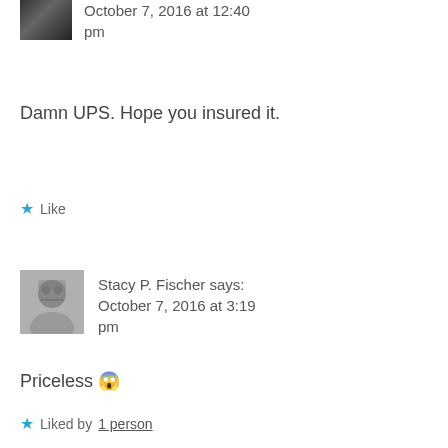October 7, 2016 at 12:40 pm
Damn UPS. Hope you insured it.
★ Like
Stacy P. Fischer says: October 7, 2016 at 3:19 pm
Priceless 😱
★ Liked by 1 person